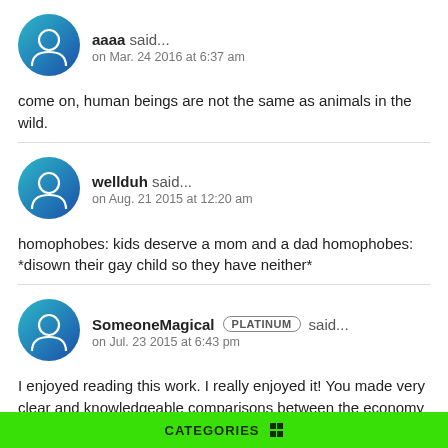aaaa said... on Mar. 24 2016 at 6:37 am
come on, human beings are not the same as animals in the wild.
wellduh said... on Aug. 21 2015 at 12:20 am
homophobes: kids deserve a mom and a dad homophobes: *disown their gay child so they have neither*
SomeoneMagical PLATINUM said... on Jul. 23 2015 at 6:43 pm
I enjoyed reading this work. I really enjoyed it! You made very clear and knowledgeable comparisons between the economy we have today and that of the science fiction book series The Hunger Games.
CATEGORIES